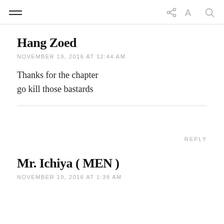≡  share  A  search
Hang Zoed
NOVEMBER 19, 2016 AT 12:44 AM
Thanks for the chapter
go kill those bastards
REPLY
Mr. Ichiya ( MEN )
NOVEMBER 19, 2016 AT 1:38 AM